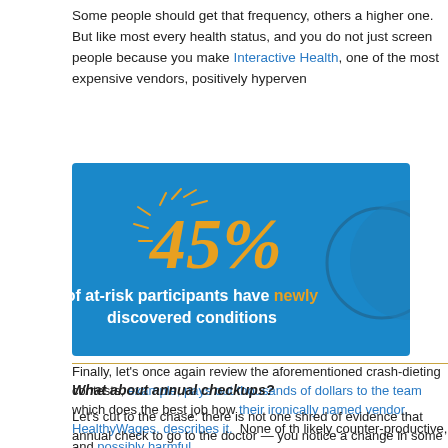Some people should get that frequency, others a higher one. But like most every health status, and you do not just screen people because you make Interactive Health, one of the most expensive vendors, positively hyperven
[Figure (infographic): Blue background infographic showing '45%' in large orange handwritten-style font with decorative rays, followed by white text 'of at-risk participants have newly discovered conditions' with 'newly' in orange.]
Finally, let's once again review the aforementioned crash-dieting contests, example, pays out thousands of dollars to the team which does the best job how their ironically named vendor, HealthyWages, describes it. None of the likely counter-productive, and possibly harmful.
What about annual checkups?
Let's cut to the chase: there is not one shred of evidence that annual check to go to the doctor — you notice a change in some aspect of your body, yo even that you're sick — but here's what's not among them: the earth comp